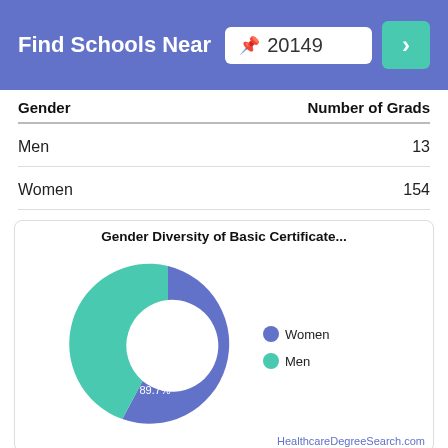Find Schools Near 20149
| Gender | Number of Grads |
| --- | --- |
| Men | 13 |
| Women | 154 |
[Figure (donut-chart): Gender Diversity of Basic Certificate...]
The racial-ethnic distribution of holistic health basic